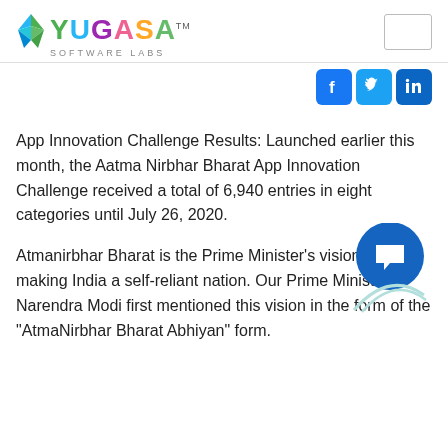[Figure (logo): Yugasa Software Labs logo with colorful bird and text, TM mark, and empty rectangle in top right]
[Figure (infographic): Social media icons: Facebook, Twitter, LinkedIn in blue rounded squares]
App Innovation Challenge Results: Launched earlier this month, the Aatma Nirbhar Bharat App Innovation Challenge received a total of 6,940 entries in eight categories until July 26, 2020.
Atmanirbhar Bharat is the Prime Minister’s vision of making India a self-reliant nation. Our Prime Minister Narendra Modi first mentioned this vision in the form of the “AtmaNirbhar Bharat Abhiyan” form.